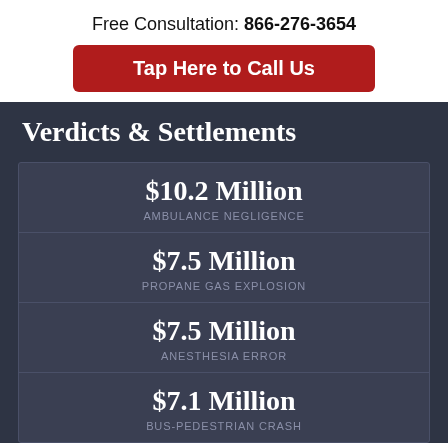Free Consultation: 866-276-3654
Tap Here to Call Us
Verdicts & Settlements
$10.2 Million — AMBULANCE NEGLIGENCE
$7.5 Million — PROPANE GAS EXPLOSION
$7.5 Million — ANESTHESIA ERROR
$7.1 Million — BUS-PEDESTRIAN CRASH